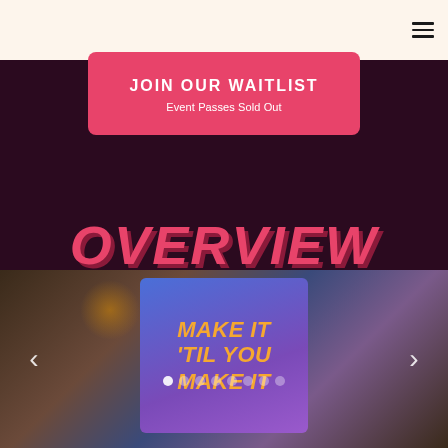Navigation menu icon
JOIN OUR WAITLIST
Event Passes Sold Out
OVERVIEW
[Figure (photo): A person holding a blue and purple card that reads 'MAKE IT TIL YOU MAKE IT' in orange bold italic letters. The background is blurred with warm bokeh tones. Left and right navigation arrows are visible. Dot indicators appear at the bottom of the slider.]